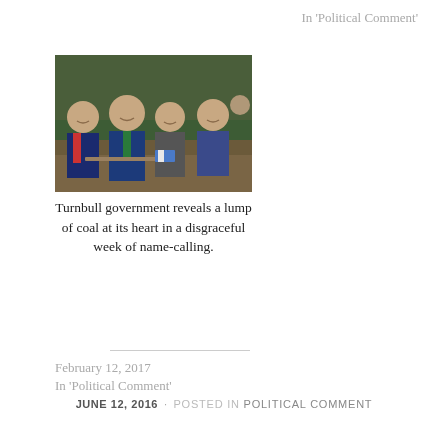In 'Political Comment'
[Figure (photo): Politicians seated in parliament chamber, laughing and smiling, green seats visible in background]
Turnbull government reveals a lump of coal at its heart in a disgraceful week of name-calling.
February 12, 2017
In 'Political Comment'
JUNE 12, 2016 · POSTED IN POLITICAL COMMENT